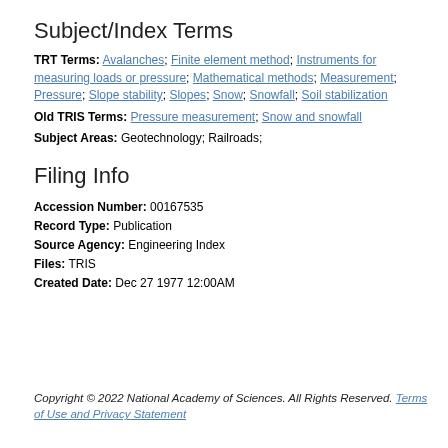Subject/Index Terms
TRT Terms: Avalanches; Finite element method; Instruments for measuring loads or pressure; Mathematical methods; Measurement; Pressure; Slope stability; Slopes; Snow; Snowfall; Soil stabilization
Old TRIS Terms: Pressure measurement; Snow and snowfall
Subject Areas: Geotechnology; Railroads;
Filing Info
Accession Number: 00167535
Record Type: Publication
Source Agency: Engineering Index
Files: TRIS
Created Date: Dec 27 1977 12:00AM
Copyright © 2022 National Academy of Sciences. All Rights Reserved. Terms of Use and Privacy Statement